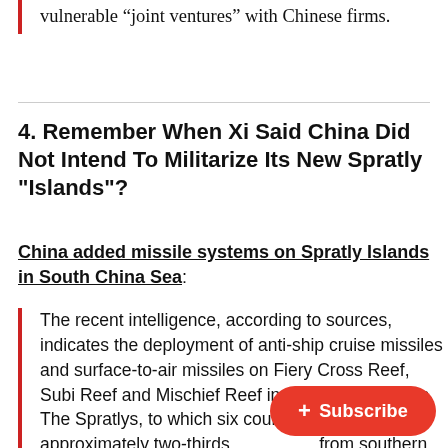multinational corporations if they enter into vulnerable “joint ventures” with Chinese firms.
4. Remember When Xi Said China Did Not Intend To Militarize Its New Spratly "Islands"?
China added missile systems on Spratly Islands in South China Sea:
The recent intelligence, according to sources, indicates the deployment of anti-ship cruise missiles and surface-to-air missiles on Fiery Cross Reef, Subi Reef and Mischief Reef in the Spratly Islands. The Spratlys, to which six countri... located approximately two-thirds ... from southern Vietnam to the southern Philippines...